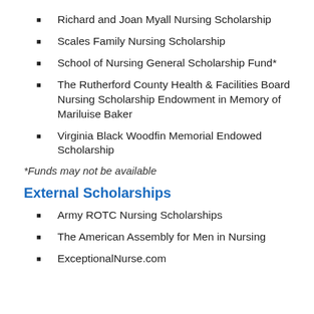Richard and Joan Myall Nursing Scholarship
Scales Family Nursing Scholarship
School of Nursing General Scholarship Fund*
The Rutherford County Health & Facilities Board Nursing Scholarship Endowment in Memory of Mariluise Baker
Virginia Black Woodfin Memorial Endowed Scholarship
*Funds may not be available
External Scholarships
Army ROTC Nursing Scholarships
The American Assembly for Men in Nursing
ExceptionalNurse.com